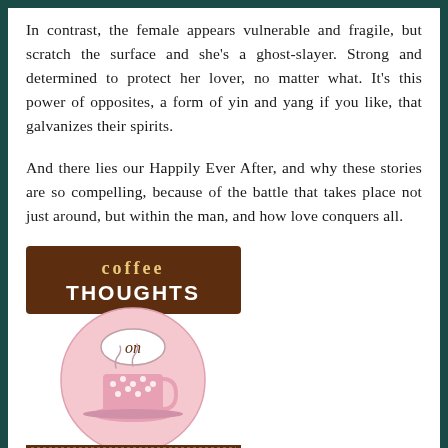In contrast, the female appears vulnerable and fragile, but scratch the surface and she's a ghost-slayer. Strong and determined to protect her lover, no matter what. It's this power of opposites, a form of yin and yang if you like, that galvanizes their spirits.
And there lies our Happily Ever After, and why these stories are so compelling, because of the battle that takes place not just around, but within the man, and how love conquers all.
[Figure (logo): Coffee Thoughts on Romance logo — brown rectangular banner with 'coffee THOUGHTS' text, a large pink circle with 'on' text and a pink polka-dot coffee cup with steam, and a brown bottom banner with 'coffee time romance' text]